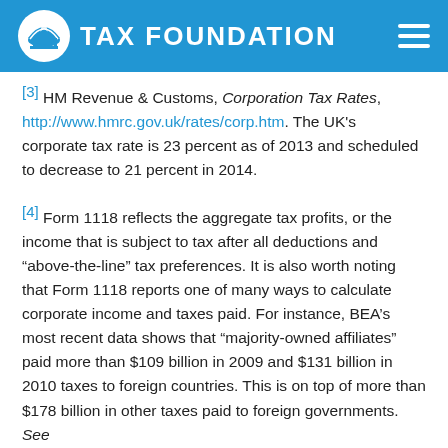TAX FOUNDATION
[3] HM Revenue & Customs, Corporation Tax Rates, http://www.hmrc.gov.uk/rates/corp.htm. The UK's corporate tax rate is 23 percent as of 2013 and scheduled to decrease to 21 percent in 2014.
[4] Form 1118 reflects the aggregate tax profits, or the income that is subject to tax after all deductions and “above-the-line” tax preferences. It is also worth noting that Form 1118 reports one of many ways to calculate corporate income and taxes paid. For instance, BEA’s most recent data shows that “majority-owned affiliates” paid more than $109 billion in 2009 and $131 billion in 2010 taxes to foreign countries. This is on top of more than $178 billion in other taxes paid to foreign governments. See Bureau of Economic Analysis, Financial and Operating Data